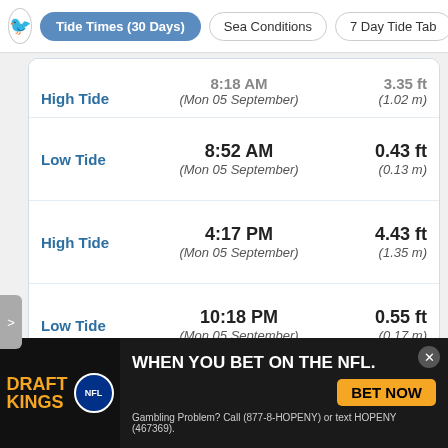Tide Times (30 Days) | Sea Conditions | 7 Day Tide Tab
| Tide Type | Time | Height |
| --- | --- | --- |
| High Tide | 8:18 AM (Mon 05 September) | 3.35 ft (1.02 m) |
| Low Tide | 8:52 AM (Mon 05 September) | 0.43 ft (0.13 m) |
| High Tide | 4:17 PM (Mon 05 September) | 4.43 ft (1.35 m) |
| Low Tide | 10:18 PM (Mon 05 September) | 0.55 ft (0.17 m) |
Sunrise: 6:13AM | Sunset: 7:09PM | Moonset: 00:02AM | Moonrise: 4:21PM
[Figure (other): DraftKings NFL advertisement banner: WHEN YOU BET ON THE NFL. BET NOW. Gambling Problem? Call (877-8-HOPENY) or text HOPENY (467369).]